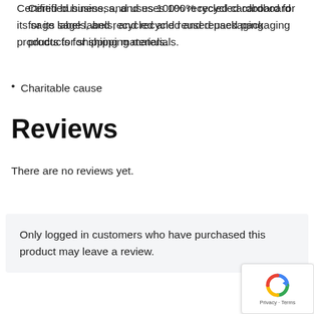Certified business, and uses 100% recycled cardboard for its sage labels, and recycled and reused packaging products for shipping materials.
Charitable cause
Reviews
There are no reviews yet.
Only logged in customers who have purchased this product may leave a review.